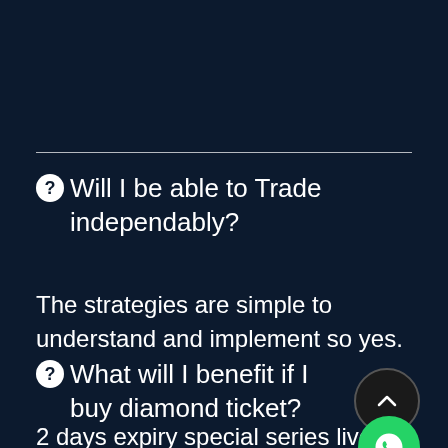Will I be able to Trade independably?
The strategies are simple to understand and implement so yes.
What will I benefit if I buy diamond ticket?
2 days expiry special series live market trading with Asmita Pa… Q and A sessions for Platinum and